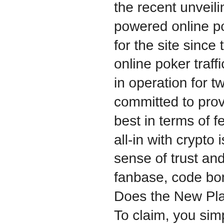the recent unveiling of a brand-new Bitcoin-powered online poker platform. That is great timing for the site since there has been a significant rise in online poker traffic. The poker site which has been in operation for two decades has always been committed to providing its customers with the very best in terms of features. That said, the move to go all-in with crypto is set to create an even deeper sense of trust and commitment among its very loyal fanbase, code bonus sans depot bitstarz. What Does the New Platform Have to Offer? To claim, you simply need to use the code 'BTC2017' when making your first deposit, and you'll see the bonus funds automatically credited to your account, code bonus sans depot bitstarz. So, in case the poker room gets hacked, data sniffers won't be able to access your Bitcoin wallet since you didn't share it in